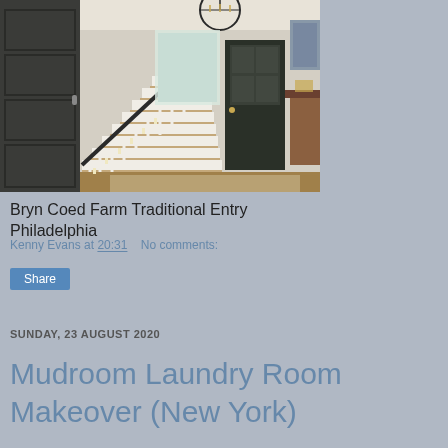[Figure (photo): Interior entryway of a traditional home showing dark painted doors, white staircase with dark railing, hardwood floors, area rug, chandelier, and view to front door]
Bryn Coed Farm Traditional Entry Philadelphia
Kenny Evans at 20:31   No comments:
Share
SUNDAY, 23 AUGUST 2020
Mudroom Laundry Room Makeover (New York)